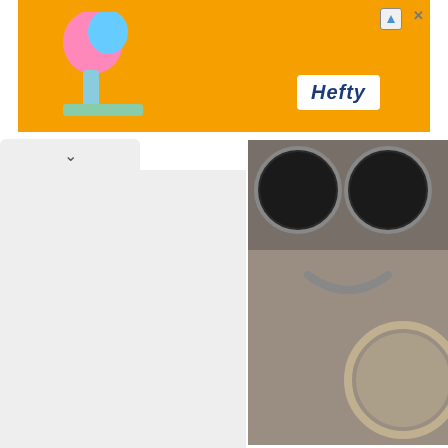[Figure (photo): Orange advertisement banner for Hefty brand, showing colorful product imagery on the left and the Hefty logo in white text on a white background on the right]
[Figure (photo): Close-up photograph of a 1948 Crosley CC Woody gauge cluster, showing beige/tan dashboard with circular gauges]
▲  1948 Crosley CC Woody gauge cluster.
[Figure (photo): Close-up photograph of a vintage automobile speedometer or gauge face with chrome bezel, showing numbers 10 and 20, with an 'Other Makes' tooltip badge visible on the tan dashboard background]